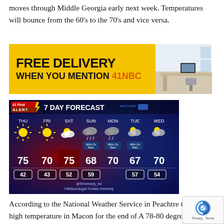moves through Middle Georgia early next week. Temperatures will bounce from the 60's to the 70's and vice versa.
[Figure (photo): Advertisement banner: FREE DELIVERY WHEN YOU MENTION 41NBC, yellow background on left with bold black text and orange '41NBC', photo of a home office on the right]
[Figure (screenshot): 41 First Alert 7 Day Forecast graphic showing weather icons and temperatures for THU through WED: highs 75, 70, 75, 68, 70, 67, 70 and lows 42, 43, 52, 59, 57, 54. Meteorologist Kristen Kennedy credit shown.]
According to the National Weather Service in Peachtre the normal high temperature in Macon for the end of A 78-80 degrees. The Climate Prediction Center's Temperature